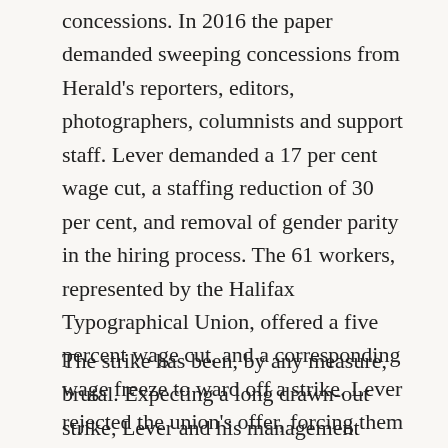concessions. In 2016 the paper demanded sweeping concessions from Herald's reporters, editors, photographers, columnists and support staff. Lever demanded a 17 per cent wage cut, a staffing reduction of 30 per cent, and removal of gender parity in the hiring process. The 61 workers, represented by the Halifax Typographical Union, offered a five percent wage cut, and a corresponding wage freeze to ward off a strike. Lever rejected the union's offer, forcing them out on strike in January 23.
The strike has been, by any measure, brutal. Expecting a long drawn-out strike, Lever and his management team planned early on to use scab